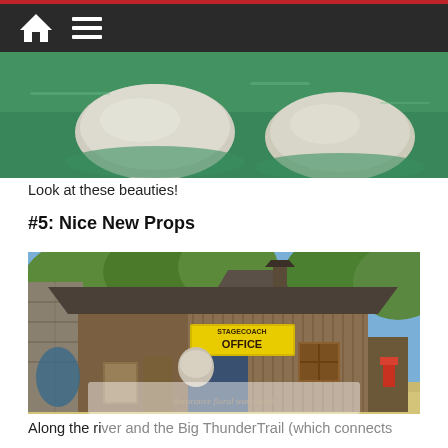Navigation bar with home and menu icons
[Figure (photo): Photo of large white/grey boulders or rocks in a green river or water body, viewed from above or side.]
Look at these beauties!
#5: Nice New Props
[Figure (photo): A rustic old western-style wooden building labeled 'STAGECOACH OFFICE' with corrugated metal siding, weathered wood, and various props including old crates, a barrel, and tools scattered around. Trees and blue sky visible in background.]
Along the river and the Big ThunderTrail (which connects